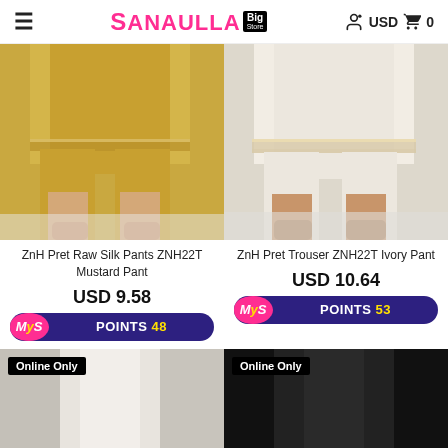≡  Sanaulla Big Store  USD  0
[Figure (photo): Photo of woman's legs wearing mustard yellow raw silk pants with embellished hem and nude heeled sandals on white fluffy rug]
ZnH Pret Raw Silk Pants ZNH22T Mustard Pant
USD 9.58
MYS POINTS 48
[Figure (photo): Photo of woman's legs wearing white/ivory trousers with lace trim hem and tan strappy heeled sandals on white fluffy rug]
ZnH Pret Trouser ZNH22T Ivory Pant
USD 10.64
MYS POINTS 53
[Figure (photo): Online Only — partial photo of white/cream fabric trouser, closely cropped]
[Figure (photo): Online Only — partial photo of black fabric trouser, closely cropped]